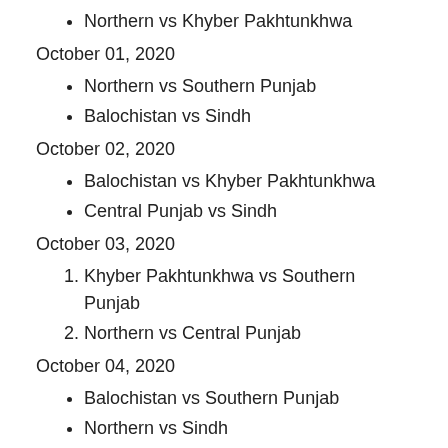Northern vs Khyber Pakhtunkhwa
October 01, 2020
Northern vs Southern Punjab
Balochistan vs Sindh
October 02, 2020
Balochistan vs Khyber Pakhtunkhwa
Central Punjab vs Sindh
October 03, 2020
Khyber Pakhtunkhwa vs Southern Punjab
Northern vs Central Punjab
October 04, 2020
Balochistan vs Southern Punjab
Northern vs Sindh